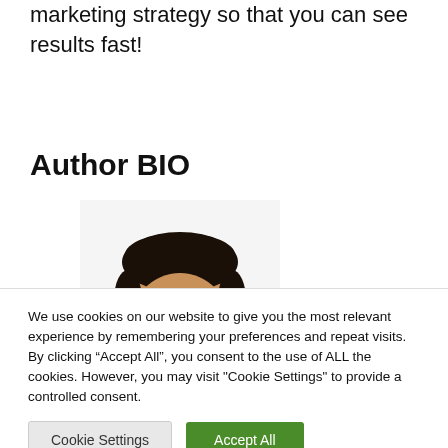marketing strategy so that you can see results fast!
Author BIO
[Figure (photo): Headshot photo of a man wearing a dark navy polo shirt, smiling, against a white background.]
We use cookies on our website to give you the most relevant experience by remembering your preferences and repeat visits. By clicking “Accept All”, you consent to the use of ALL the cookies. However, you may visit "Cookie Settings" to provide a controlled consent.